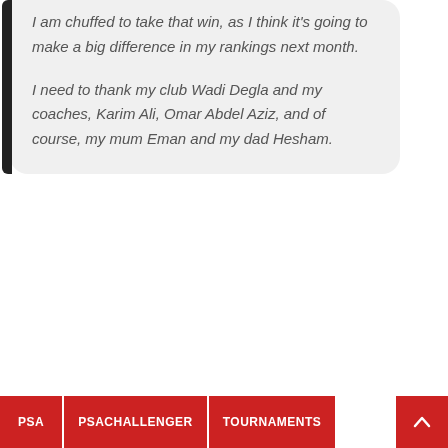I am chuffed to take that win, as I think it's going to make a big difference in my rankings next month.
I need to thank my club Wadi Degla and my coaches, Karim Ali, Omar Abdel Aziz, and of course, my mum Eman and my dad Hesham.
PSA | PSACHALLENGER | TOURNAMENTS